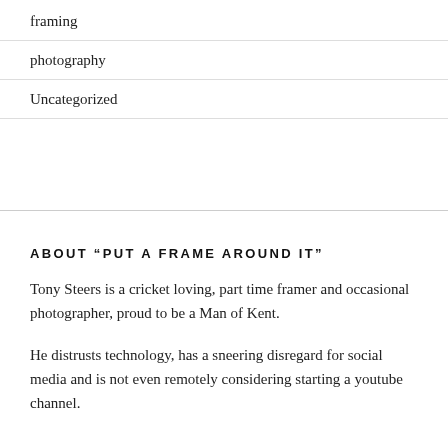framing
photography
Uncategorized
ABOUT “PUT A FRAME AROUND IT”
Tony Steers is a cricket loving, part time framer and occasional photographer, proud to be a Man of Kent.
He distrusts technology, has a sneering disregard for social media and is not even remotely considering starting a youtube channel.